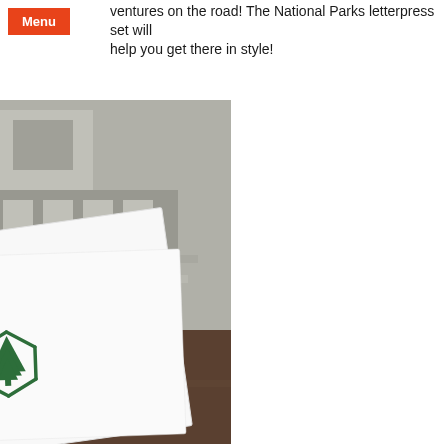Menu
ventures on the road! The National Parks letterpress set will help you get there in style!
[Figure (photo): A close-up photograph showing letterpress note cards with a green tree/hexagon logo printed on them, arranged on a wooden surface alongside black-and-white vintage photographs of buildings and landscapes. A partial colorful poster with letters 'RAI AL' is visible in the background.]